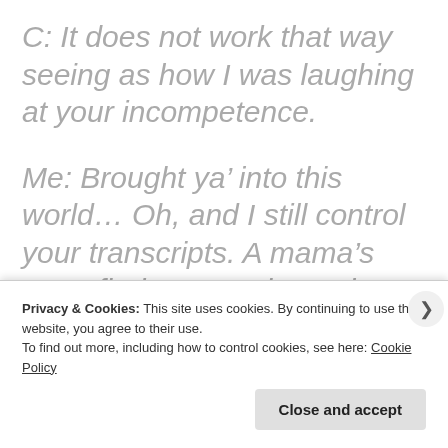C: It does not work that way seeing as how I was laughing at your incompetence.
Me: Brought ya' into this world... Oh, and I still control your transcripts. A mama's gotta find power where she can.
(partial line cut off at bottom)
Privacy & Cookies: This site uses cookies. By continuing to use this website, you agree to their use. To find out more, including how to control cookies, see here: Cookie Policy